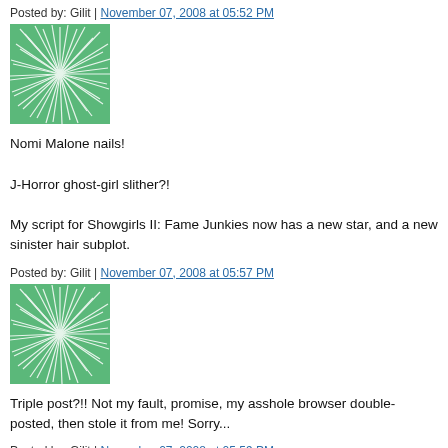Posted by: Gilit | November 07, 2008 at 05:52 PM
[Figure (illustration): Green swirl/burst pattern avatar image]
Nomi Malone nails!

J-Horror ghost-girl slither?!

My script for Showgirls II: Fame Junkies now has a new star, and a new sinister hair subplot.
Posted by: Gilit | November 07, 2008 at 05:57 PM
[Figure (illustration): Green swirl/burst pattern avatar image]
Triple post?!! Not my fault, promise, my asshole browser double-posted, then stole it from me! Sorry...
Posted by: Gilit | November 07, 2008 at 05:59 PM
[Figure (illustration): Pink/red geometric pattern avatar image]
Brilliant!